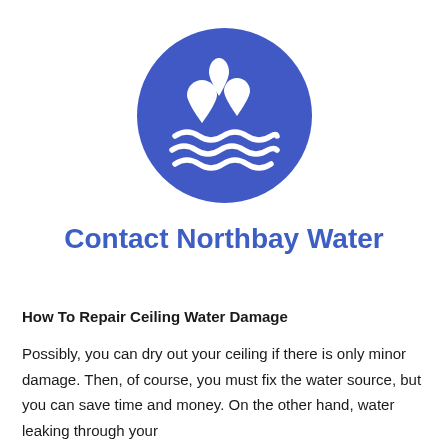[Figure (illustration): Blue circle icon with three white water droplets above two white wavy water lines, representing water/flooding]
Contact Northbay Water
How To Repair Ceiling Water Damage
Possibly, you can dry out your ceiling if there is only minor damage. Then, of course, you must fix the water source, but you can save time and money. On the other hand, water leaking through your